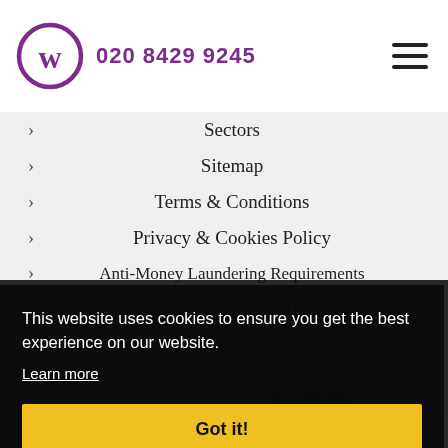020 8429 9245
Sectors
Sitemap
Terms & Conditions
Privacy & Cookies Policy
Anti-Money Laundering Requirements
Staff Diversity 2019
This website uses cookies to ensure you get the best experience on our website.
Learn more
Got it!
Follow Us:
Wisteria Ltd – Registered in England, Company Number: 4333204 – regulated by the ICAEW. Registered with the Chartered Institute of